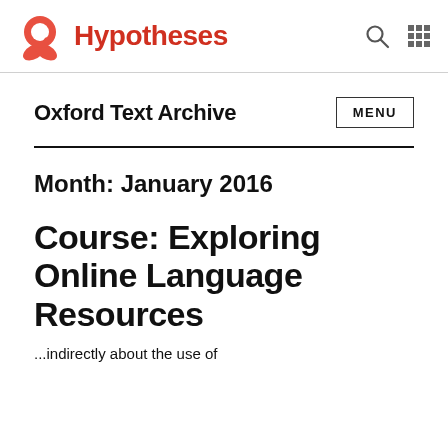Hypotheses
Oxford Text Archive
Month: January 2016
Course: Exploring Online Language Resources
...